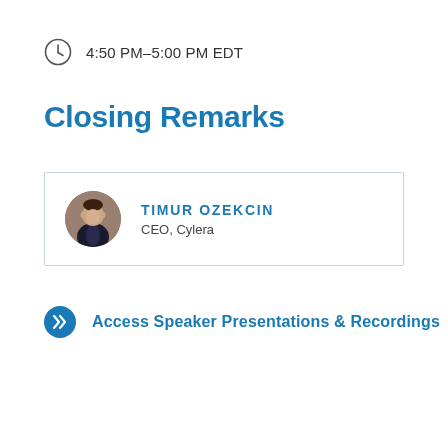4:50 PM–5:00 PM EDT
Closing Remarks
TIMUR OZEKCIN
CEO, Cylera
Access Speaker Presentations & Recordings